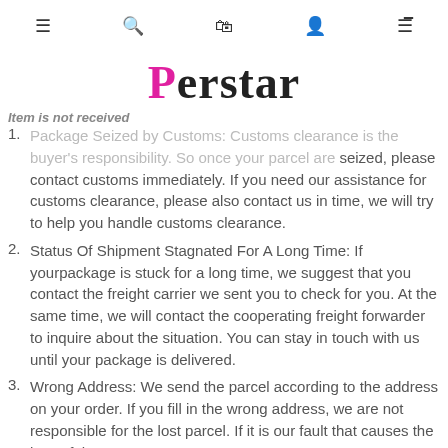Perstar
Item is not received
1. Package Seized by Customs: Customs clearance is the buyer's responsibility. So once your parcel are seized, please contact customs immediately. If you need our assistance for customs clearance, please also contact us in time, we will try to help you handle customs clearance.
2. Status Of Shipment Stagnated For A Long Time: If yourpackage is stuck for a long time, we suggest that you contact the freight carrier we sent you to check for you. At the same time, we will contact the cooperating freight forwarder to inquire about the situation. You can stay in touch with us until your package is delivered.
3. Wrong Address: We send the parcel according to the address on your order. If you fill in the wrong address, we are not responsible for the lost parcel. If it is our fault that causes the loss of the